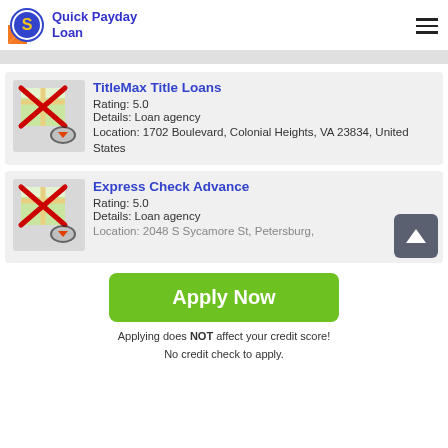Quick Payday Loan
TitleMax Title Loans
Rating: 5.0
Details: Loan agency
Location: 1702 Boulevard, Colonial Heights, VA 23834, United States
Express Check Advance
Rating: 5.0
Details: Loan agency
Location: 2048 S Sycamore St, Petersburg,
Apply Now
Applying does NOT affect your credit score!
No credit check to apply.